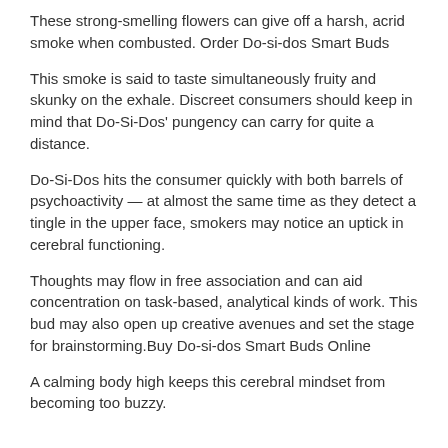These strong-smelling flowers can give off a harsh, acrid smoke when combusted. Order Do-si-dos Smart Buds
This smoke is said to taste simultaneously fruity and skunky on the exhale. Discreet consumers should keep in mind that Do-Si-Dos' pungency can carry for quite a distance.
Do-Si-Dos hits the consumer quickly with both barrels of psychoactivity — at almost the same time as they detect a tingle in the upper face, smokers may notice an uptick in cerebral functioning.
Thoughts may flow in free association and can aid concentration on task-based, analytical kinds of work. This bud may also open up creative avenues and set the stage for brainstorming.Buy Do-si-dos Smart Buds Online
A calming body high keeps this cerebral mindset from becoming too buzzy.